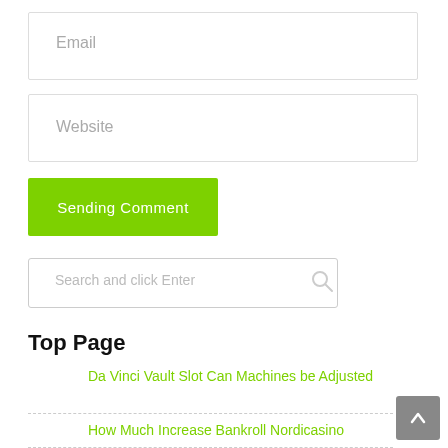[Figure (screenshot): Email input field with placeholder text 'Email']
[Figure (screenshot): Website input field with placeholder text 'Website']
[Figure (screenshot): Green button with text 'Sending Comment']
[Figure (screenshot): Search input box with placeholder 'Search and click Enter' and a search icon]
Top Page
Da Vinci Vault Slot Can Machines be Adjusted
How Much Increase Bankroll Nordicasino